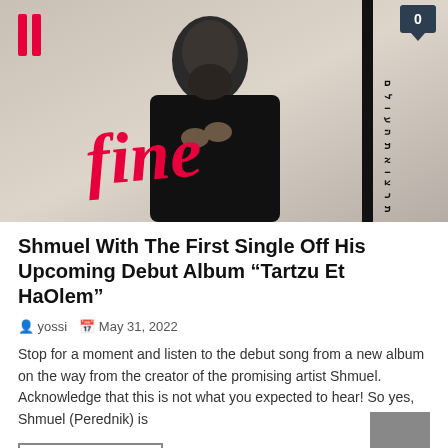[Figure (photo): Album promotional image for 'Tartzu Et HaOlem' featuring a bearded man in black clothing with hands on chest, red script text reading 'fine', red double-bar logo top left, Hebrew vertical text on right, black vertical bar, dark notification badge with '0' in top right corner]
Shmuel With The First Single Off His Upcoming Debut Album “Tartzu Et HaOlem”
yossi   May 31, 2022
Stop for a moment and listen to the debut song from a new album on the way from the creator of the promising artist Shmuel. Acknowledge that this is not what you expected to hear! So yes, Shmuel (Perednik) is
READ MORE